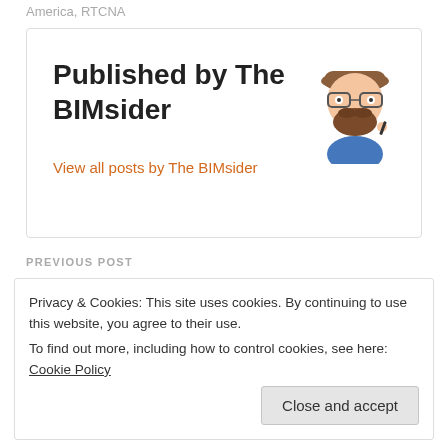America, RTCNA
Published by The BIMsider
View all posts by The BIMsider
[Figure (illustration): Cartoon avatar of a bearded man with glasses and a cap, wearing a blue shirt, holding a pen]
PREVIOUS POST
Privacy & Cookies: This site uses cookies. By continuing to use this website, you agree to their use.
To find out more, including how to control cookies, see here: Cookie Policy
Close and accept